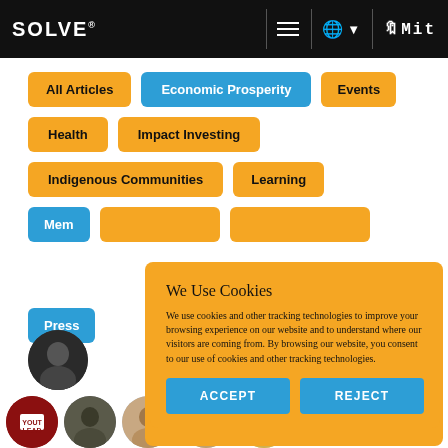SOLVE® — MIT — navigation bar with hamburger menu and globe icon
All Articles
Economic Prosperity
Events
Health
Impact Investing
Indigenous Communities
Learning
Mem[bers] (partially visible)
Press (partially visible)
We Use Cookies
We use cookies and other tracking technologies to improve your browsing experience on our website and to understand where our visitors are coming from. By browsing our website, you consent to our use of cookies and other tracking technologies.
ACCEPT
REJECT
[Figure (photo): Circular portrait photos of people at the bottom of the page]